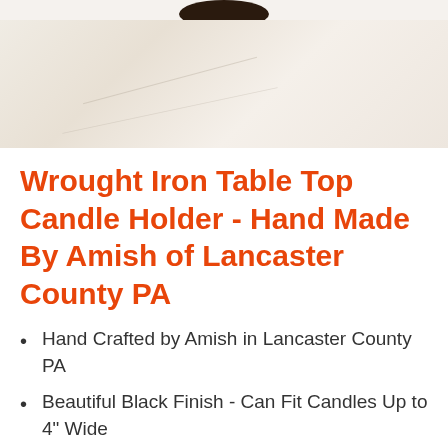[Figure (photo): Product photo of a wrought iron candle holder on a marble/cream surface, partially cropped showing the dark circular base at top]
Wrought Iron Table Top Candle Holder - Hand Made By Amish of Lancaster County PA
Hand Crafted by Amish in Lancaster County PA
Beautiful Black Finish - Can Fit Candles Up to 4" Wide